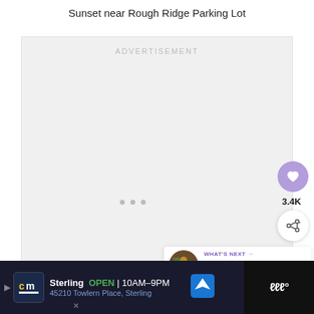Sunset near Rough Ridge Parking Lot
[Figure (other): Advertisement placeholder box with 'ADVERTISEMENT' label, three loading dots, a purple heart button with 3.4K likes, a share button, and a 'What's Next' card showing '10 Reasons to Drive the Bl...']
[Figure (other): Bottom advertisement bar: CM logo, Sterling store info (OPEN 10AM-9PM, 45210 Towlern Place, Sterling), navigation icon, and weather widget on right]